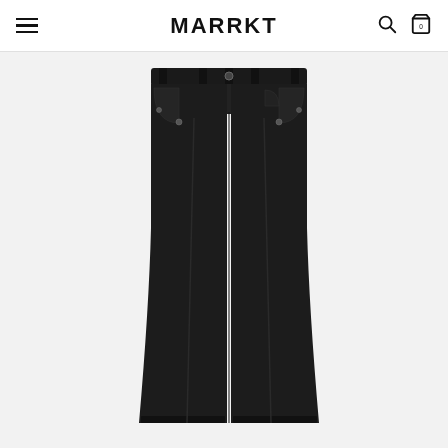MARRKT
[Figure (photo): Product photo of black straight-leg jeans/trousers displayed flat on a light grey background. The pants are dark black denim with classic 5-pocket styling and visible rivets.]